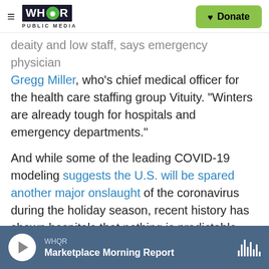WHQR PUBLIC MEDIA | Donate
deaity and low staff, says emergency physician Gregg Miller, who's chief medical officer for the health care staffing group Vituity. "Winters are already tough for hospitals and emergency departments."
And while some of the leading COVID-19 modeling suggests the U.S. will be spared another major onslaught of the coronavirus during the holiday season, recent history has shown hospitals that nothing is predictable with this virus.
"We need to be prepared for always having some individuals who are infected with COVID in our
WHQR | Marketplace Morning Report